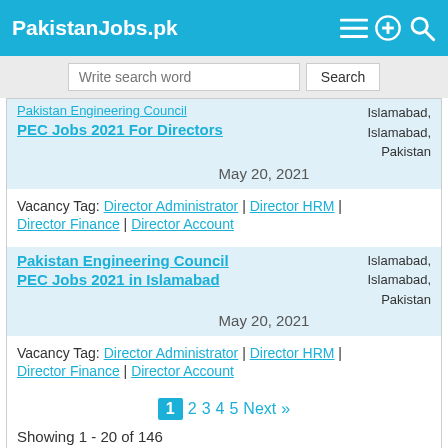PakistanJobs.pk
Write search word | Search
Pakistan Engineering Council PEC Jobs 2021 For Directors | May 20, 2021 | Islamabad, Islamabad, Pakistan
Vacancy Tag: Director Administrator | Director HRM | Director Finance | Director Account
Pakistan Engineering Council PEC Jobs 2021 in Islamabad | May 20, 2021 | Islamabad, Islamabad, Pakistan
Vacancy Tag: Director Administrator | Director HRM | Director Finance | Director Account
1 2 3 4 5 Next »
Showing 1 - 20 of 146